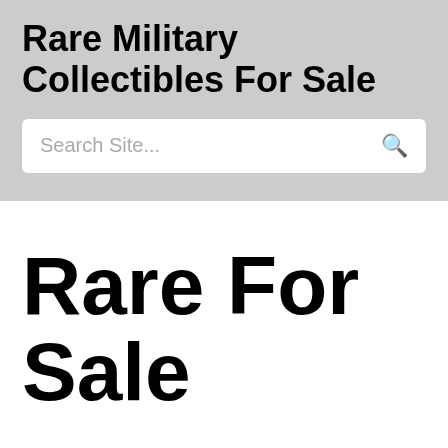Rare Military Collectibles For Sale
Search Site...
Rare For Sale